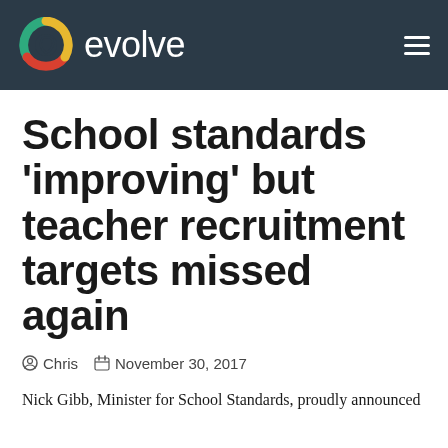evolve
School standards 'improving' but teacher recruitment targets missed again
Chris  November 30, 2017
Nick Gibb, Minister for School Standards, proudly announced